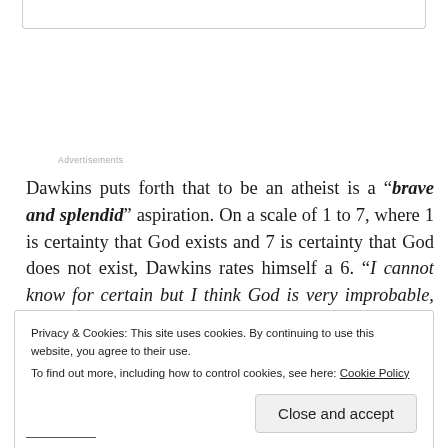Advertisements
Dawkins puts forth that to be an atheist is a “brave and splendid” aspiration. On a scale of 1 to 7, where 1 is certainty that God exists and 7 is certainty that God does not exist, Dawkins rates himself a 6. “I cannot know for certain but I think God is very improbable, and I live my life on the assumption that he is not there,” he
Privacy & Cookies: This site uses cookies. By continuing to use this website, you agree to their use.
To find out more, including how to control cookies, see here: Cookie Policy
Close and accept